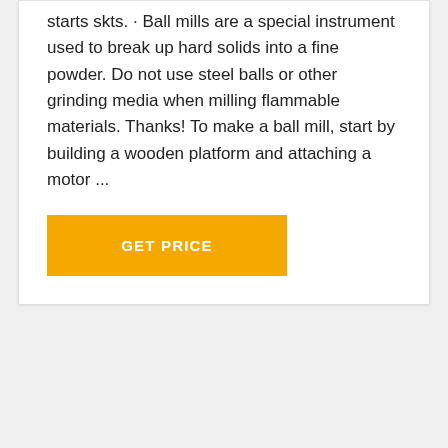starts skts. · Ball mills are a special instrument used to break up hard solids into a fine powder. Do not use steel balls or other grinding media when milling flammable materials. Thanks! To make a ball mill, start by building a wooden platform and attaching a motor ...
GET PRICE